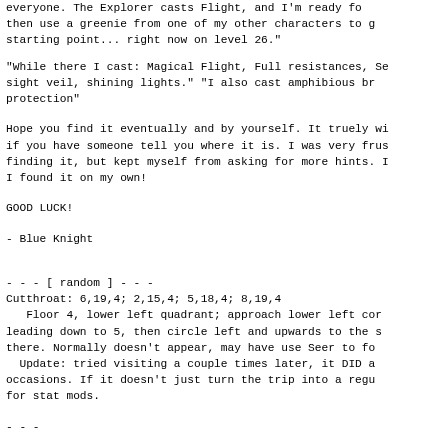everyone. The Explorer casts Flight, and I'm ready for then use a greenie from one of my other characters to g starting point... right now on level 26."
"While there I cast: Magical Flight, Full resistances, Se sight veil, shining lights." "I also cast amphibious br protection"
Hope you find it eventually and by yourself. It truely wi if you have someone tell you where it is. I was very frus finding it, but kept myself from asking for more hints. I I found it on my own!
GOOD LUCK!
- Blue Knight
- - - [ random ] - - -
Cutthroat: 6,19,4; 2,15,4; 5,18,4; 8,19,4
   Floor 4, lower left quadrant; approach lower left cor leading down to 5, then circle left and upwards to the s there. Normally doesn't appear, may have use Seer to fo   Update: tried visiting a couple times later, it DID a occasions. If it doesn't just turn the trip into a regu for stat mods.
- - -
Apparently memhack tools work for statfixing during ch but beware of exceeding natural boundaries i.e. racial